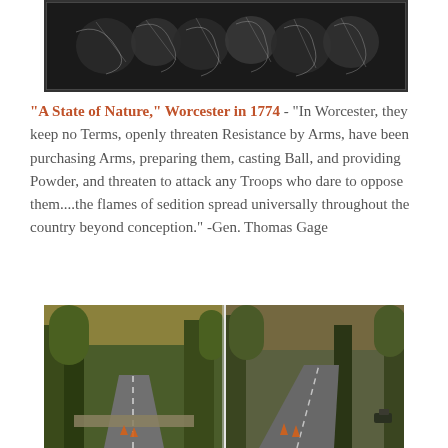[Figure (illustration): Black and white engraving/sketch of figures in colonial-era scene]
“A State of Nature,” Worcester in 1774 - “In Worcester, they keep no Terms, openly threaten Resistance by Arms, have been purchasing Arms, preparing them, casting Ball, and providing Powder, and threaten to attack any Troops who dare to oppose them....the flames of sedition spread universally throughout the country beyond conception.” -Gen. Thomas Gage
[Figure (photo): Photograph of a road through wooded area, split into two panels showing trees and a winding road]